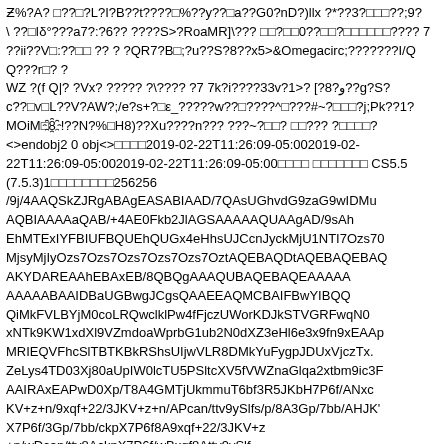Ƶ%?A? □??□?L?I?B??t????□%??y??□a??G0?nD?)llx ?*??3?□□□??;9? \ ??□Iδ°???a7?:?6?? ????S>?RoaMR]\??? □□?□□0??□□?□□□□□□????  7 ??ii??V□:??□□ ?? ? ?QR7?B□;?u??S?8??x5>Ω???????I/QQ???r□? ? WZ ?(f Q|? ?Vx? ????? ?\???? ?7 7k?i????33v?1>? [?8?و??g?S? c??□v□L??V?AW?;/e?s+?□ε_?????w??□????^□???#~?□□□?j;Pk??1? MOiM□8Ҁ!??N?%□H8)??Hu????n??? ???~?□□? □□??? ?□□□□? <>endobj2 0 obj<>□□□□2019-02-22T11:26:09-05:002019-02-22T11:26:09-05:002019-02-22T11:26:09-05:00□□□□ □□□□□□□ CS5.5 (7.5.3)1□□□□□□□□256256 /9j/4AAQSkZJRgABAgEASABIAAD/7QAsUGhvdG9zaG9wIDMu AQBIAAAAaQAB/+4AE0Fkb2JlAGSAAAAAQUAAgAD/9sAh EhMTExIYFBIUFBQUEhQUGx4eHhsUJCcnJyckMjU1NTI7Ozs70 MjsyMjIyOzs7Ozs7Ozs7Ozs7Ozs7OztAQEBAQDtAQEBAQEBAG AKYDAREAAhEBAxEB/8QBQgAAAQUBAQEBAQEAAAAA AAAAABAAIDBaUGBwgJCgsQAAEEAQMCBAIFBwYIBQ QiMkFVLBYjM0coLRQwclklPw4fFjczUWorKDJkSTVGRFwqN0 xNTk9KW1xdXl9VZmdoaWprbG1ub2N0dXZ3eHl6e3x9fn9xEAAp MRIEQVFhcSlTBTKBkRShsUIjwVLR8DMkYuFygpJDUxVjczTx. ZeLys4TD03Xj80aUpIW0lcTU5PSltcXV5fVWZnaGlqa2xtbm9ic3F AAIRAxEAPwD0Xp/T8A4GMTjUkmmuT6bf3R5JKbH7P6f/ANxc KV+z+n/9xqf+22/3JKV+z+n/APcan/ttv9ySlfs/p/8A3Gp/7bb/AHJK' X7P6f/3Gp/7bb/ckpX7P6f8A9xqf+22/3JKV+z +n/wDcan/ttv8AckpX7P6f/wBxqf8Attv9ySlf s/p//can/ttv9ySlfs/p/wD3Gp/7bb/ckpX7P6f/ANxqf+22/wBySlfs/p// A +n/9xqf+22/3JKV+z+n/APcan/ttv9ySlfs/